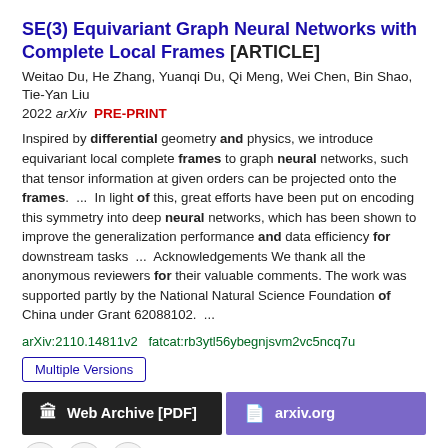SE(3) Equivariant Graph Neural Networks with Complete Local Frames [ARTICLE]
Weitao Du, He Zhang, Yuanqi Du, Qi Meng, Wei Chen, Bin Shao, Tie-Yan Liu
2022 arXiv PRE-PRINT
Inspired by differential geometry and physics, we introduce equivariant local complete frames to graph neural networks, such that tensor information at given orders can be projected onto the frames. ... In light of this, great efforts have been put on encoding this symmetry into deep neural networks, which has been shown to improve the generalization performance and data efficiency for downstream tasks ... Acknowledgements We thank all the anonymous reviewers for their valuable comments. The work was supported partly by the National Natural Science Foundation of China under Grant 62088102. ...
arXiv:2110.14811v2   fatcat:rb3ytl56ybegnjsvm2vc5ncq7u
Multiple Versions
Web Archive [PDF]
arxiv.org